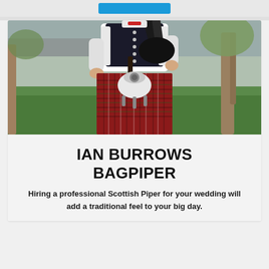[Figure (photo): A bagpiper dressed in traditional Scottish attire — black vest with silver buttons, white shirt, red tartan kilt with sporran — playing bagpipes outdoors on a green lawn with trees and a road in the background.]
IAN BURROWS BAGPIPER
Hiring a professional Scottish Piper for your wedding will add a traditional feel to your big day.